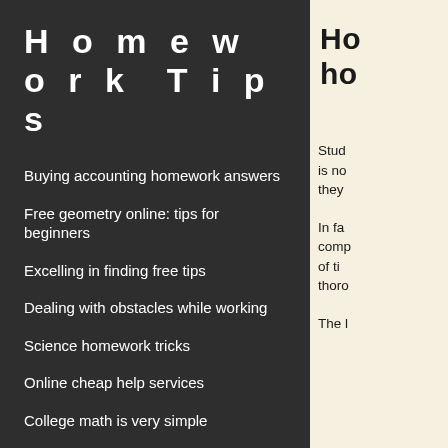Homework Tips
Buying accounting homework answers
Free geometry online: tips for beginners
Excelling in finding free tips
Dealing with obstacles while working
Science homework tricks
Online cheap help services
College math is very simple
Free homework accounting solutions
Ho... ho...
Stud... is no... they...
In fa... comp... of ti... thoro...
The l...